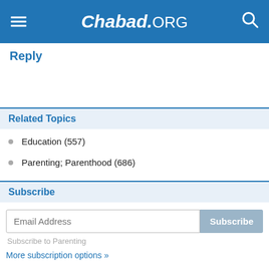Chabad.ORG
Reply
Related Topics
Education (557)
Parenting; Parenthood (686)
Subscribe
Email Address
Subscribe to Parenting
More subscription options »